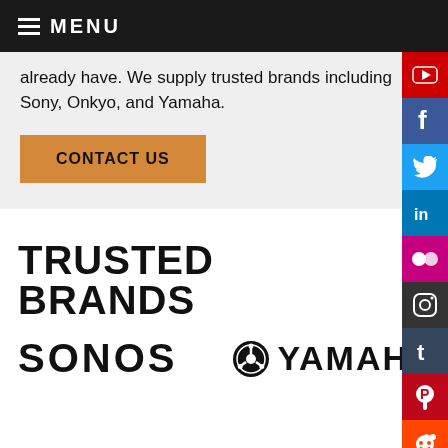≡ MENU
already have. We supply trusted brands including Sony, Onkyo, and Yamaha.
CONTACT US
[Figure (infographic): Social media icons sidebar: YouTube (red), Facebook (blue), Twitter (blue), LinkedIn (blue), Flickr (pink), Instagram (dark), Tumblr (dark blue), Pinterest (red), Reddit (red), Groups (dark red)]
TRUSTED BRANDS
[Figure (logo): SONOS logo in bold black uppercase text]
[Figure (logo): YAMAHA logo with circular emblem and bold black uppercase text]